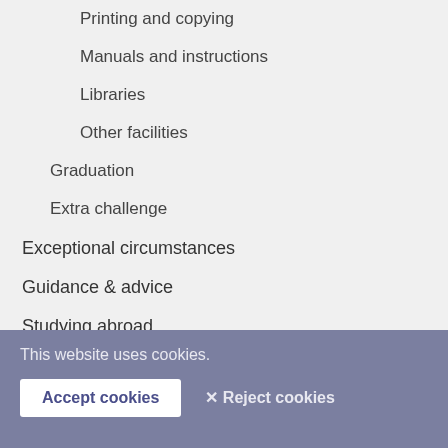Printing and copying
Manuals and instructions
Libraries
Other facilities
Graduation
Extra challenge
Exceptional circumstances
Guidance & advice
Studying abroad
Honours education
Quality of education
Administrative matters
Student life
This website uses cookies.